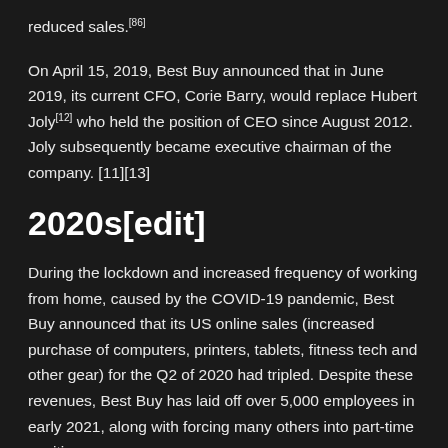reduced sales.[86]
On April 15, 2019, Best Buy announced that in June 2019, its current CFO, Corie Barry, would replace Hubert Joly[12] who held the position of CEO since August 2012. Joly subsequently became executive chairman of the company. [11][13]
2020s[edit]
During the lockdown and increased frequency of working from home, caused by the COVID-19 pandemic, Best Buy announced that its US online sales (increased purchase of computers, printers, tablets, fitness tech and other gear) for the Q2 of 2020 had tripled. Despite these revenues, Best Buy has laid off over 5,000 employees in early 2021, along with forcing many others into part-time positions.